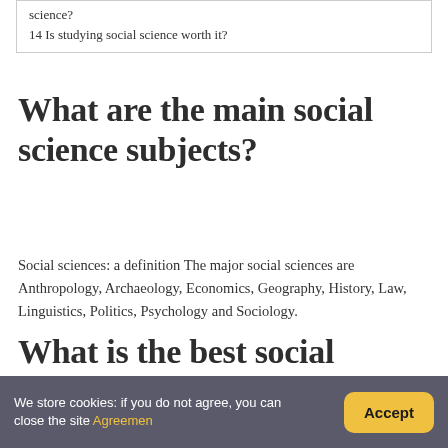| science? |
| 14 Is studying social science worth it? |
What are the main social science subjects?
Social sciences: a definition The major social sciences are Anthropology, Archaeology, Economics, Geography, History, Law, Linguistics, Politics, Psychology and Sociology.
What is the best social science course?
We store cookies: if you do not agree, you can close the site Agreement